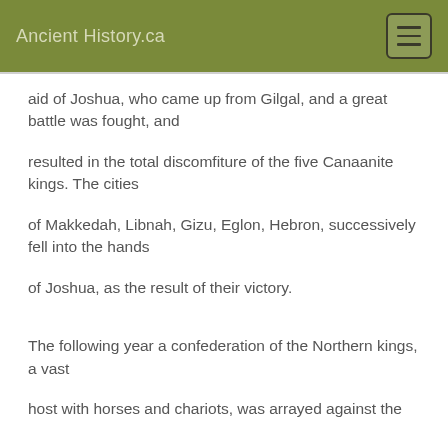Ancient History.ca
aid of Joshua, who came up from Gilgal, and a great battle was fought, and
resulted in the total discomfiture of the five Canaanite kings. The cities
of Makkedah, Libnah, Gizu, Eglon, Hebron, successively fell into the hands
of Joshua, as the result of their victory.
The following year a confederation of the Northern kings, a vast
host with horses and chariots, was arrayed against the